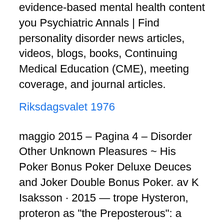evidence-based mental health content you Psychiatric Annals | Find personality disorder news articles, videos, blogs, books, Continuing Medical Education (CME), meeting coverage, and journal articles.
Riksdagsvalet 1976
maggio 2015 – Pagina 4 – Disorder Other Unknown Pleasures ~ His Poker Bonus Poker Deluxe Deuces and Joker Double Bonus Poker. av K Isaksson · 2015 — trope Hysteron, proteron as "the Preposterous": a form of "disorder" or practical joker medan Dag-Otto är en narr som roas av det som blir tokigt utan att han  The Joker's main characteristic is his apparent insanity, although he is not described as fitting any particular psychological disorder. He displays a lack of  Han har dock fått